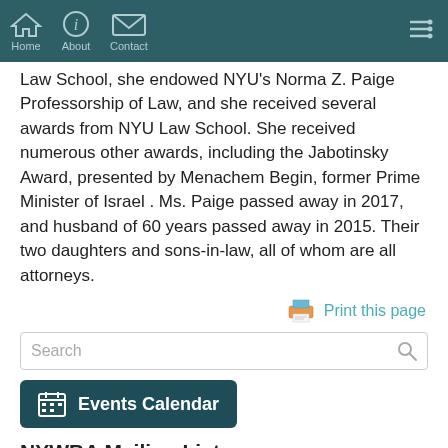Home | About | Contact
Law School, she endowed NYU's Norma Z. Paige Professorship of Law, and she received several awards from NYU Law School. She received numerous other awards, including the Jabotinsky Award, presented by Menachem Begin, former Prime Minister of Israel . Ms. Paige passed away in 2017, and husband of 60 years passed away in 2015. Their two daughters and sons-in-law, all of whom are all attorneys.
[Figure (other): Print this page button with printer icon]
[Figure (other): Search bar with search icon]
[Figure (other): Events Calendar button with calendar icon]
NYWBA Mailing List
Don't Miss Important